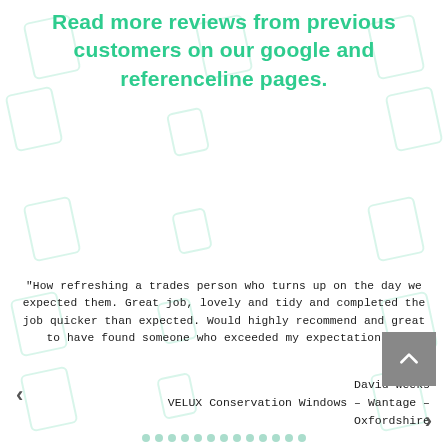Read more reviews from previous customers on our google and referenceline pages.
"How refreshing a trades person who turns up on the day we expected them. Great job, lovely and tidy and completed the job quicker than expected. Would highly recommend and great to have found someone who exceeded my expectations."
David Weeks
VELUX Conservation Windows – Wantage – Oxfordshire